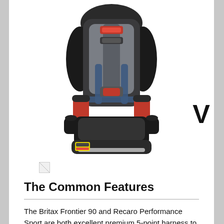[Figure (photo): Britax Frontier 90 car seat in black and gray with red accents, showing 5-point harness system]
V
[Figure (photo): Small broken/placeholder image thumbnail]
The Common Features
The Britax Frontier 90 and Recaro Performance Sport are both excellent premium 5-point harness to